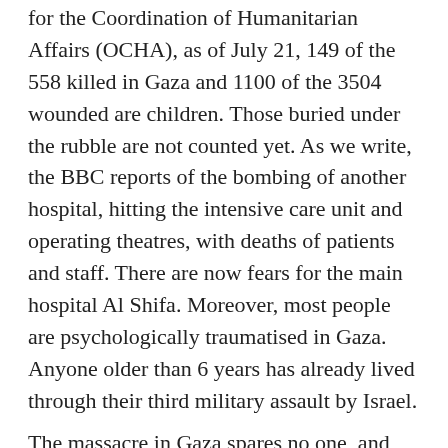for the Coordination of Humanitarian Affairs (OCHA), as of July 21, 149 of the 558 killed in Gaza and 1100 of the 3504 wounded are children. Those buried under the rubble are not counted yet. As we write, the BBC reports of the bombing of another hospital, hitting the intensive care unit and operating theatres, with deaths of patients and staff. There are now fears for the main hospital Al Shifa. Moreover, most people are psychologically traumatised in Gaza. Anyone older than 6 years has already lived through their third military assault by Israel.
The massacre in Gaza spares no one, and includes the disabled and sick in hospitals, children playing on the beach or on the roof top, with a large majority of non-combatants. Hospitals, clinics, ambulances, mosques, and schools and buildings have all been attacked.